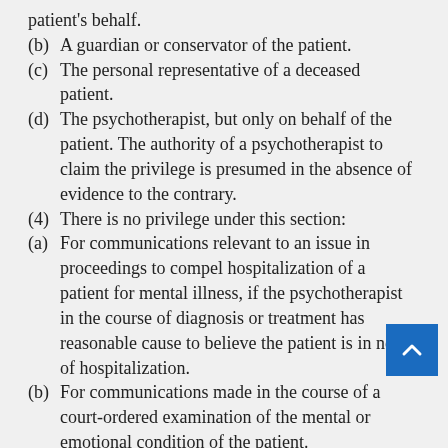patient's behalf.
(b)   A guardian or conservator of the patient.
(c)   The personal representative of a deceased patient.
(d)   The psychotherapist, but only on behalf of the patient. The authority of a psychotherapist to claim the privilege is presumed in the absence of evidence to the contrary.
(4)   There is no privilege under this section:
(a)   For communications relevant to an issue in proceedings to compel hospitalization of a patient for mental illness, if the psychotherapist in the course of diagnosis or treatment has reasonable cause to believe the patient is in need of hospitalization.
(b)   For communications made in the course of a court-ordered examination of the mental or emotional condition of the patient.
(c)   For communications relevant to an issue of the